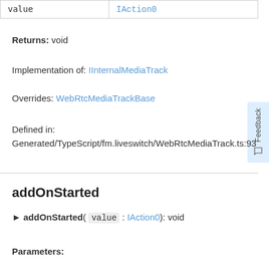| value | IAction0 |
| --- | --- |
| value | IAction0 |
Returns: void
Implementation of: IInternalMediaTrack
Overrides: WebRtcMediaTrackBase
Defined in: Generated/TypeScript/fm.liveswitch/WebRtcMediaTrack.ts:93
addOnStarted
► addOnStarted( value : IAction0): void
Parameters: